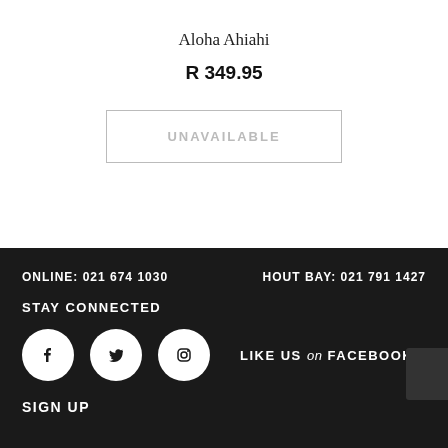Aloha Ahiahi
R 349.95
UNAVAILABLE
ONLINE: 021 674 1030
HOUT BAY: 021 791 1427
STAY CONNECTED
[Figure (infographic): Facebook, Twitter, and Instagram circular social media icons in white on black circles]
LIKE US on FACEBOOK
SIGN UP